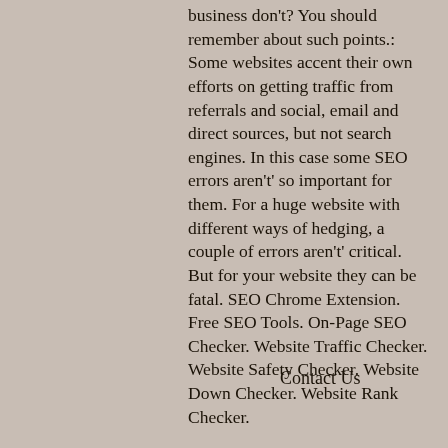business don't? You should remember about such points.: Some websites accent their own efforts on getting traffic from referrals and social, email and direct sources, but not search engines. In this case some SEO errors aren't' so important for them. For a huge website with different ways of hedging, a couple of errors aren't' critical. But for your website they can be fatal. SEO Chrome Extension. Free SEO Tools. On-Page SEO Checker. Website Traffic Checker. Website Safety Checker. Website Down Checker. Website Rank Checker.
Contact Us